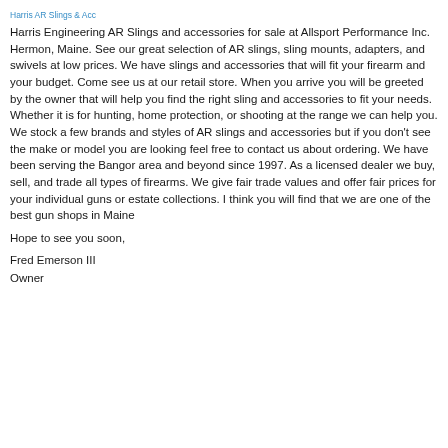Harris AR Slings & Acc
Harris Engineering AR Slings and accessories for sale at Allsport Performance Inc. Hermon, Maine. See our great selection of AR slings, sling mounts, adapters, and swivels at low prices. We have slings and accessories that will fit your firearm and your budget. Come see us at our retail store. When you arrive you will be greeted by the owner that will help you find the right sling and accessories to fit your needs.  Whether it is for hunting, home protection, or shooting at the range we can help you. We stock a few brands and styles of AR slings and accessories but if you don't see the make or model you are looking feel free to contact us about ordering. We have been serving the Bangor area and beyond since 1997. As a licensed dealer we buy, sell, and trade all types of firearms. We give fair trade values and offer fair prices for your individual guns or estate collections. I think you will find that we are one of the best gun shops in Maine
Hope to see you soon,
Fred Emerson III
Owner